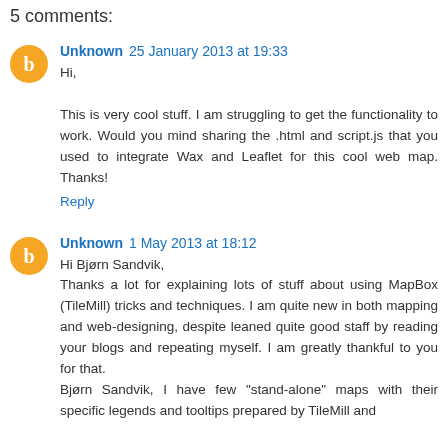5 comments:
Unknown 25 January 2013 at 19:33
Hi,

This is very cool stuff. I am struggling to get the functionality to work. Would you mind sharing the .html and script.js that you used to integrate Wax and Leaflet for this cool web map. Thanks!
Reply
Unknown 1 May 2013 at 18:12
Hi Bjørn Sandvik,
Thanks a lot for explaining lots of stuff about using MapBox (TileMill) tricks and techniques. I am quite new in both mapping and web-designing, despite leaned quite good staff by reading your blogs and repeating myself. I am greatly thankful to you for that.
Bjørn Sandvik, I have few "stand-alone" maps with their specific legends and tooltips prepared by TileMill and